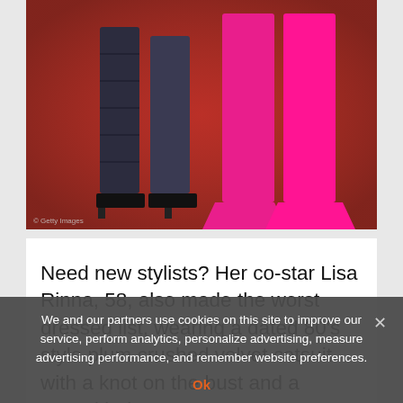[Figure (photo): Photo of two women's legs on a red carpet. Left person wearing dark patterned leggings with black heels, right person wearing bright pink wide-leg trousers. Getty Images watermark visible at bottom left.]
Need new stylists? Her co-star Lisa Rinna, 58, also made the worst dressed list, wearing a dated 80's style plum crushed velvet catsuit with a knot on the bust and a crystal belt
[Figure (illustration): Colorful illustrated banner with 'Draw' text in green cursive, a cloud illustration, and green leaf shapes on a light blue background.]
We and our partners use cookies on this site to improve our service, perform analytics, personalize advertising, measure advertising performance, and remember website preferences.
Ok